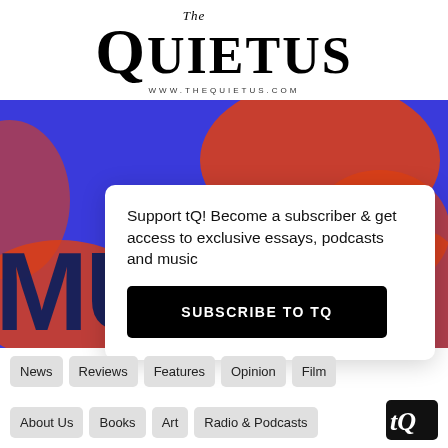[Figure (logo): The Quietus logo with italic 'The' above large serif 'QUIETUS' text and www.thequietus.com below]
[Figure (photo): Hero banner image with blue and orange textured background and MUTEK text overlay in dark navy]
Support tQ! Become a subscriber & get access to exclusive essays, podcasts and music
SUBSCRIBE TO TQ
News
Reviews
Features
Opinion
Film
About Us
Books
Art
Radio & Podcasts